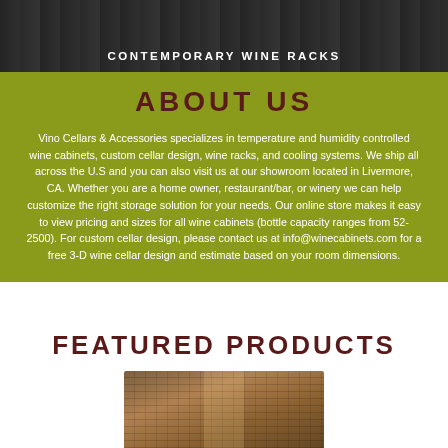[Figure (photo): Wine rack photo header with dark overlay]
CONTEMPORARY WINE RACKS
ABOUT US
Vino Cellars & Accessories specializes in temperature and humidity controlled wine cabinets, custom cellar design, wine racks, and cooling systems. We ship all across the U.S and you can also visit us at our showroom located in Livermore, CA. Whether you are a home owner, restaurant/bar, or winery we can help customize the right storage solution for your needs. Our online store makes it easy to view pricing and sizes for all wine cabinets (bottle capacity ranges from 52-2500). For custom cellar design, please contact us at info@winecabinets.com for a free 3-D wine cellar design and estimate based on your room dimensions.
FEATURED PRODUCTS
[Figure (photo): Wine cellar with wooden racks filled with wine bottles, illuminated interior]